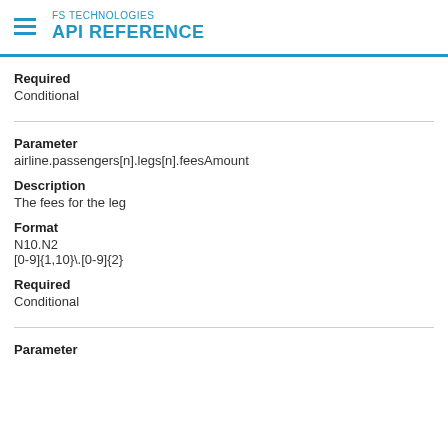FS TECHNOLOGIES API REFERENCE
Required
Conditional
Parameter
airline.passengers[n].legs[n].feesAmount
Description
The fees for the leg
Format
N10.N2
[0-9]{1,10}\.[0-9]{2}
Required
Conditional
Parameter